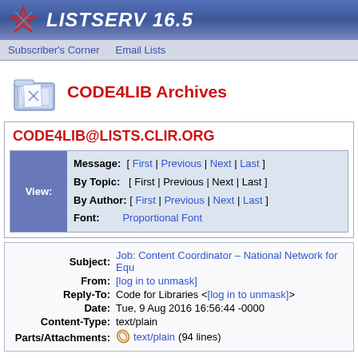LISTSERV 16.5
Subscriber's Corner   Email Lists
CODE4LIB Archives
CODE4LIB@LISTS.CLIR.ORG
|  |  |
| --- | --- |
| Message: | [ First | Previous | Next | Last ] |
| By Topic: | [ First | Previous | Next | Last ] |
| By Author: | [ First | Previous | Next | Last ] |
| Font: | Proportional Font |
| Field | Value |
| --- | --- |
| Subject: | Job: Content Coordinator – National Network for Equ... |
| From: | [log in to unmask] |
| Reply-To: | Code for Libraries <[log in to unmask]> |
| Date: | Tue, 9 Aug 2016 16:56:44 -0000 |
| Content-Type: | text/plain |
| Parts/Attachments: | text/plain (94 lines) |
Content Coordinator – National Network for Equitable D
BC Libraries Cooperative